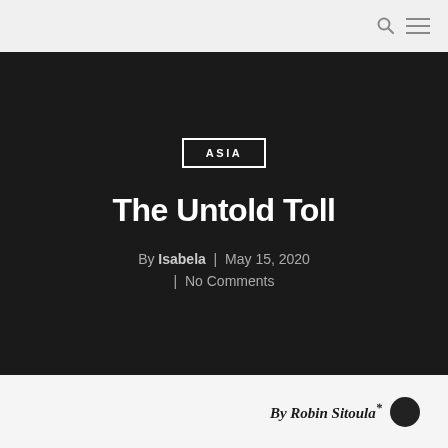ASIA
The Untold Toll
By Isabela | May 15, 2020
| No Comments
By Robin Sitoula*